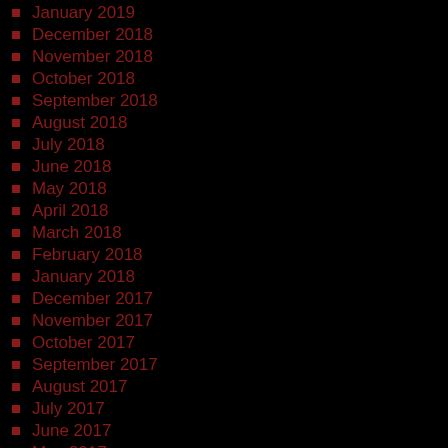January 2019
December 2018
November 2018
October 2018
September 2018
August 2018
July 2018
June 2018
May 2018
April 2018
March 2018
February 2018
January 2018
December 2017
November 2017
October 2017
September 2017
August 2017
July 2017
June 2017
May 2017
April 2017
March 2017
February 2017